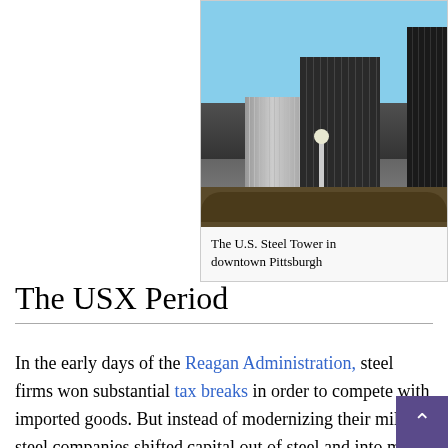[Figure (photo): Photograph of the U.S. Steel Tower and surrounding skyscrapers in downtown Pittsburgh, viewed from below against a blue sky, with bare trees and a lamp post in the foreground.]
The U.S. Steel Tower in downtown Pittsburgh
The USX Period
In the early days of the Reagan Administration, steel firms won substantial tax breaks in order to compete with imported goods. But instead of modernizing their mills, steel companies shifted capital out of steel and into more profitable areas